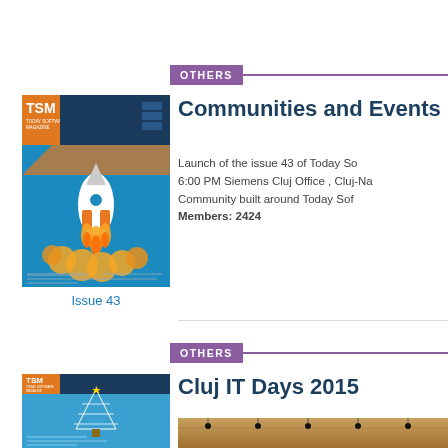OTHERS
Communities and Events
Launch of the issue 43 of Today So... 6:00 PM Siemens Cluj Office , Cluj-Na... Community built around Today Sof... Members: 2424
[Figure (illustration): TSM magazine cover - Issue 43, rocket launch on blue background]
Issue 43
OTHERS
Cluj IT Days 2015
[Figure (illustration): TSM magazine cover with Christmas tree made of text]
[Figure (photo): Interior of a venue with ceiling lights, warm golden tones]